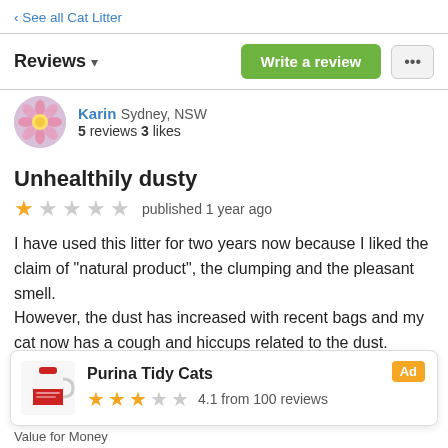‹ See all Cat Litter
Reviews ▾
Karin Sydney, NSW
5 reviews 3 likes
Unhealthily dusty
★☆☆☆☆ published 1 year ago
I have used this litter for two years now because I liked the claim of "natural product", the clumping and the pleasant smell.
However, the dust has increased with recent bags and my cat now has a cough and hiccups related to the dust.
I have switched to a recycled paper product and
Purina Tidy Cats
★★★☆☆ 4.1 from 100 reviews
Ad
Value for Money